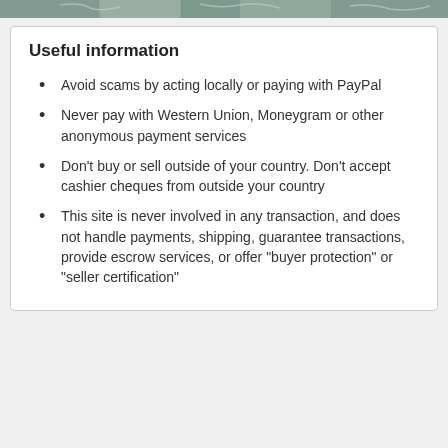[Figure (map): Partial view of a map shown as a decorative header strip]
Useful information
Avoid scams by acting locally or paying with PayPal
Never pay with Western Union, Moneygram or other anonymous payment services
Don't buy or sell outside of your country. Don't accept cashier cheques from outside your country
This site is never involved in any transaction, and does not handle payments, shipping, guarantee transactions, provide escrow services, or offer "buyer protection" or "seller certification"